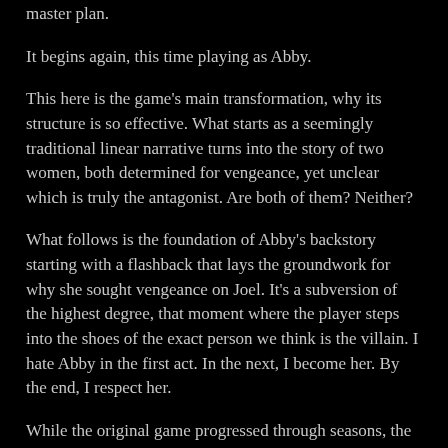master plan.
It begins again, this time playing as Abby.
This here is the game's main transformation, why its structure is so effective. What starts as a seemingly traditional linear narrative turns into the story of two women, both determined for vengeance, yet unclear which is truly the antagonist. Are both of them? Neither?
What follows is the foundation of Abby's backstory starting with a flashback that lays the groundwork for why she sought vengeance on Joel. It's a subversion of the highest degree, that moment where the player steps into the shoes of the exact person we think is the villain. I hate Abby in the first act. In the next, I become her. By the end, I respect her.
While the original game progressed through seasons, the sequel is told mainly only a few days. We see the same segments in time from Abby's perspective right after Ellie's. At first, I admittedly didn't like this. The pacing felt off and I found it jarring. We had seen the climax, then returned to